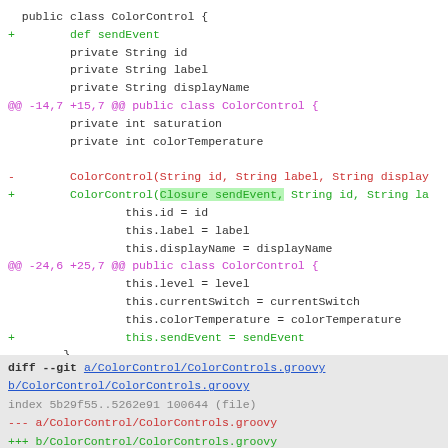public class ColorControl {
+        def sendEvent
         private String id
         private String label
         private String displayName
@@ -14,7 +15,7 @@ public class ColorControl {
         private int saturation
         private int colorTemperature

-        ColorControl(String id, String label, String display...
+        ColorControl(Closure sendEvent, String id, String la...
                 this.id = id
                 this.label = label
                 this.displayName = displayName
@@ -24,6 +25,7 @@ public class ColorControl {
                 this.level = level
                 this.currentSwitch = currentSwitch
                 this.colorTemperature = colorTemperature
+                this.sendEvent = sendEvent
        }

        //By model checker
diff --git a/ColorControl/ColorControls.groovy b/ColorControl/ColorControls.groovy
index 5b29f55..5262e91 100644 (file)
--- a/ColorControl/ColorControls.groovy
+++ b/ColorControl/ColorControls.groovy
@@ -40,7 +40,7 @@ public class ColorControls {
                 this.color = "blue"